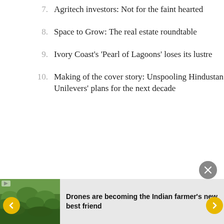7. Agritech investors: Not for the faint hearted
8. Space to Grow: The real estate roundtable
9. Ivory Coast's 'Pearl of Lagoons' loses its lustre
10. Making of the cover story: Unspooling Hindustan Unilevers' plans for the next decade
[Figure (photo): Thumbnail image of green farmland/crops, used as banner image]
Drones are becoming the Indian farmer's new best friend